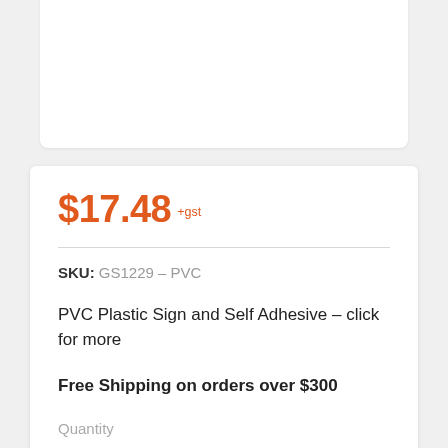$17.48 +gst
SKU: GS1229 – PVC
PVC Plastic Sign and Self Adhesive – click for more
Free Shipping on orders over $300
Quantity